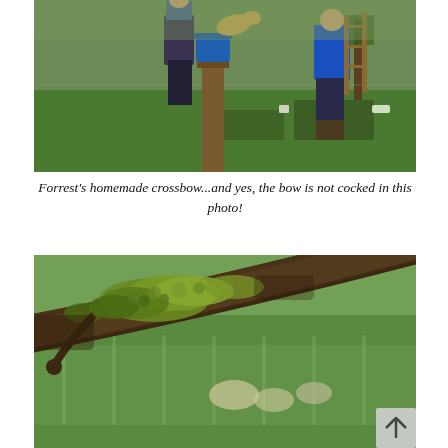[Figure (photo): Outdoor farm scene with two people standing on green grass. One person on the left stands near a wooden post with a blue bucket on top. A dog is visible jumping in the background. Another person on the right wears a blue sports jersey and boots. A wooden ladder leans against a post in the background.]
Forrest's homemade crossbow...and yes, the bow is not cocked in this photo!
[Figure (photo): Close-up macro photo of a tree branch covered in green moss and lichen in the foreground. The background is blurred and shows green fields with what appear to be sheep and a fence structure. A back-to-top arrow button is visible in the lower right corner.]